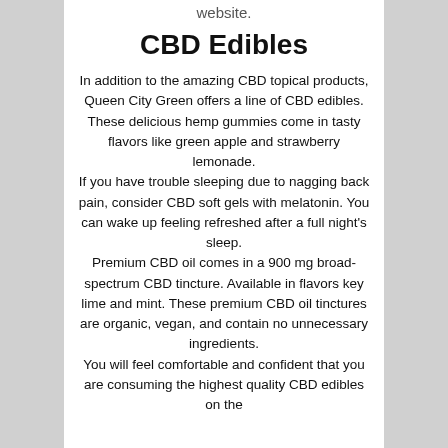website.
CBD Edibles
In addition to the amazing CBD topical products, Queen City Green offers a line of CBD edibles. These delicious hemp gummies come in tasty flavors like green apple and strawberry lemonade. If you have trouble sleeping due to nagging back pain, consider CBD soft gels with melatonin. You can wake up feeling refreshed after a full night's sleep. Premium CBD oil comes in a 900 mg broad-spectrum CBD tincture. Available in flavors key lime and mint. These premium CBD oil tinctures are organic, vegan, and contain no unnecessary ingredients. You will feel comfortable and confident that you are consuming the highest quality CBD edibles on the